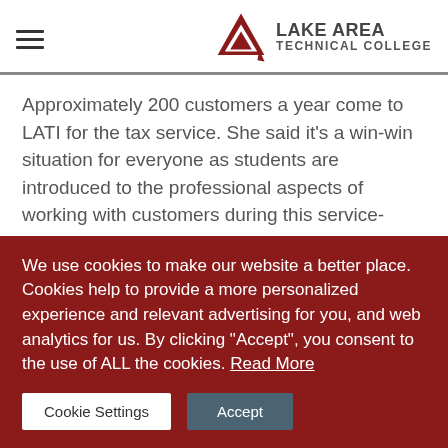Lake Area Technical College
Approximately 200 customers a year come to LATI for the tax service. She said it's a win-win situation for everyone as students are introduced to the professional aspects of working with customers during this service-learning experience, and the customers are able to obtain tax filing assistance free of charge from VITA-certified students.  Before filing
We use cookies to make our website a better place. Cookies help to provide a more personalized experience and relevant advertising for you, and web analytics for us. By clicking "Accept", you consent to the use of ALL the cookies. Read More